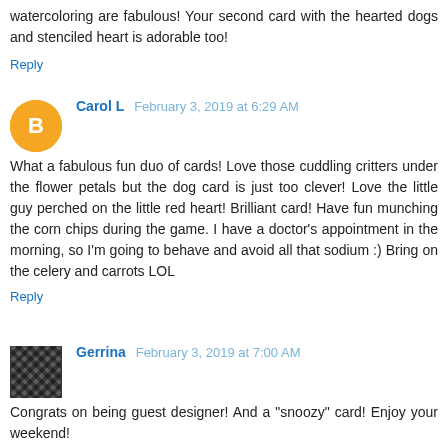watercoloring are fabulous! Your second card with the hearted dogs and stenciled heart is adorable too!
Reply
Carol L  February 3, 2019 at 6:29 AM
What a fabulous fun duo of cards! Love those cuddling critters under the flower petals but the dog card is just too clever! Love the little guy perched on the little red heart! Brilliant card! Have fun munching the corn chips during the game. I have a doctor's appointment in the morning, so I'm going to behave and avoid all that sodium :) Bring on the celery and carrots LOL
Reply
Gerrina  February 3, 2019 at 7:00 AM
Congrats on being guest designer! And a "snoozy" card! Enjoy your weekend!
Reply